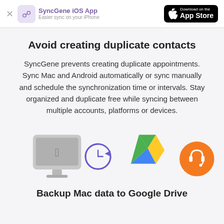SyncGene iOS App — Easier sync on your iPhone
Avoid creating duplicate contacts
SyncGene prevents creating duplicate appointments. Sync Mac and Android automatically or sync manually and schedule the synchronization time or intervals. Stay organized and duplicate free while syncing between multiple accounts, platforms or devices.
[Figure (infographic): Row of icons: Mac desktop computer, circular arrow (time machine/sync), Google Drive logo (triangle), orange headset support icon]
Backup Mac data to Google Drive